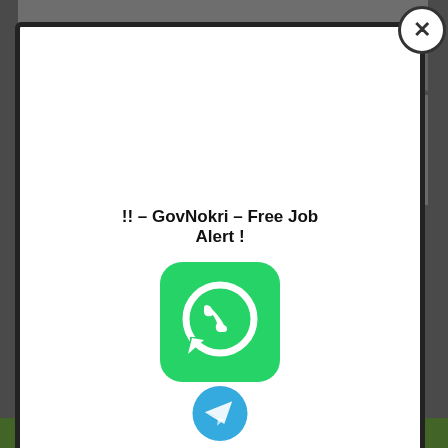[Figure (screenshot): Background page with Hindi/regional language text in gray, partially visible behind modal overlay]
!! – GovNokri – Free Job Alert !
[Figure (logo): WhatsApp logo: green rounded square with white phone handset icon in speech bubble]
[Figure (logo): Telegram logo: partially visible blue circle with white paper plane icon (cropped at bottom)]